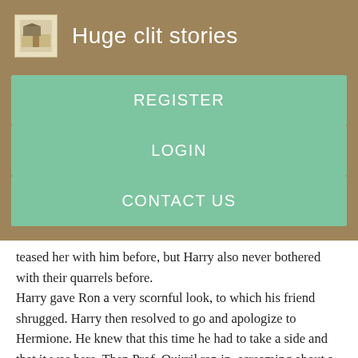Huge clit stories
REGISTER
LOGIN
CONTACT US
teased her with him before, but Harry also never bothered with their quarrels before.
Harry gave Ron a very scornful look, to which his friend shrugged. Harry then resolved to go and apologize to Hermione. He knew that this time he had to take a side and that it was hers. Then Prof. Quirril ran in, screaming about a troll before fainting. Everyone began to panic before Dumbledore called for silence. He ordered the prefects to take the students to their houses and